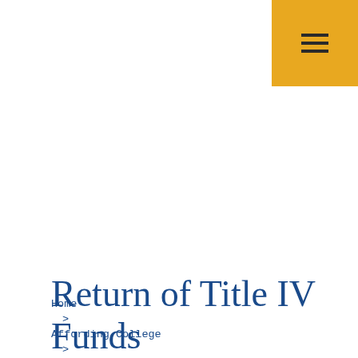[Figure (other): Gold/amber colored square button in the top-right corner with a hamburger menu icon (three horizontal lines)]
Home
  >
Affording College
  >
Paying for College
  >
Return of Title IV Funds Policy
Return of Title IV Funds